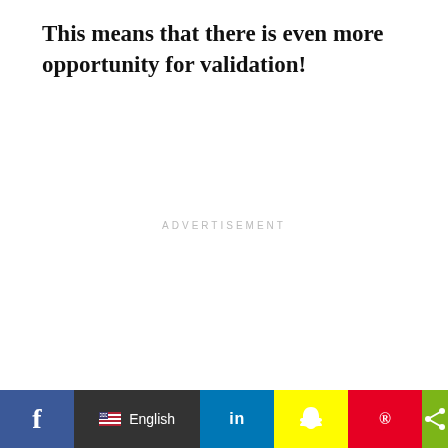This means that there is even more opportunity for validation!
ADVERTISEMENT
You can validate your HTML against their standard and
Social sharing bar with: Facebook, English language selector, LinkedIn, Snapchat, Pinterest, Share